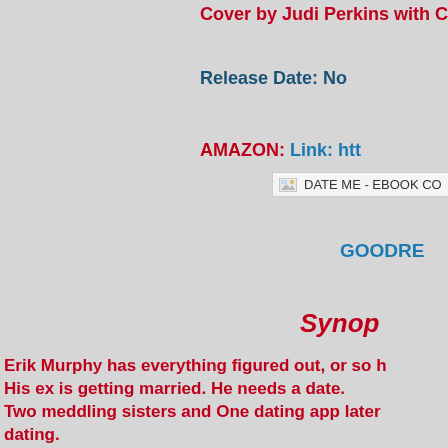Cover by Judi Perkins with C…
Release Date: No…
AMAZON:  Link: htt…
[Figure (screenshot): Broken image placeholder labeled DATE ME - EBOOK CO…]
GOODRE…
Synop…
Erik Murphy has everything figured out, or so h… His ex is getting married. He needs a date. Two meddling sisters and One dating app later… dating. Will he be able to find a date in time? Will he fi… Kayla MacPhearson thinks her best friend Beli… spice up her dating life. Kayla hooks her up on…